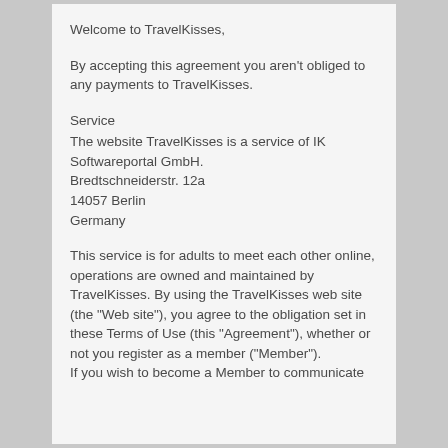Welcome to TravelKisses,
By accepting this agreement you aren't obliged to any payments to TravelKisses.
Service
The website TravelKisses is a service of IK Softwareportal GmbH.
Bredtschneiderstr. 12a
14057 Berlin
Germany
This service is for adults to meet each other online, operations are owned and maintained by TravelKisses. By using the TravelKisses web site (the "Web site"), you agree to the obligation set in these Terms of Use (this "Agreement"), whether or not you register as a member ("Member").
If you wish to become a Member to communicate